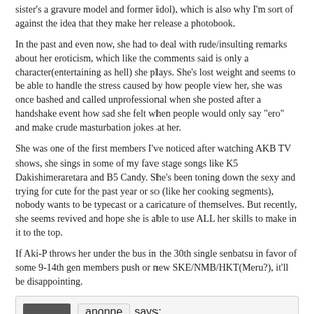sister's a gravure model and former idol), which is also why I'm sort of against the idea that they make her release a photobook.
In the past and even now, she had to deal with rude/insulting remarks about her eroticism, which like the comments said is only a character(entertaining as hell) she plays. She's lost weight and seems to be able to handle the stress caused by how people view her, she was once bashed and called unprofessional when she posted after a handshake event how sad she felt when people would only say "ero" and make crude masturbation jokes at her.
She was one of the first members I've noticed after watching AKB TV shows, she sings in some of my fave stage songs like K5 Dakishimeraretara and B5 Candy. She's been toning down the sexy and trying for cute for the past year or so (like her cooking segments), nobody wants to be typecast or a caricature of themselves. But recently, she seems revived and hope she is able to use ALL her skills to make in it to the top.
If Aki-P throws her under the bus in the 30th single senbatsu in favor of some 9-14th gen members push or new SKE/NMB/HKT(Meru?), it'll be disappointing.
[Figure (other): Comment block with avatar showing 'WrapUp' logo, username 'anonne says:', dated SEPTEMBER 26, 2012 AT 11:10 PM]